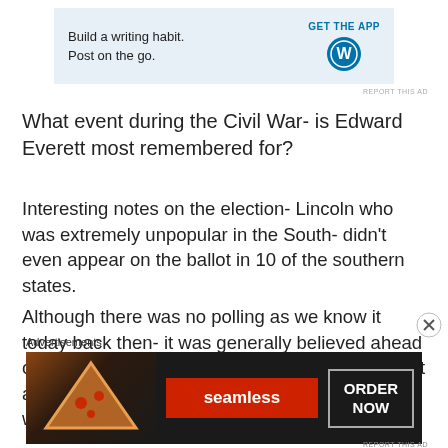[Figure (screenshot): WordPress 'Build a writing habit. Post on the go.' advertisement banner with GET THE APP button and WordPress logo]
What event during the Civil War- is Edward Everett most remembered for?
Interesting notes on the election- Lincoln who was extremely unpopular in the South- didn't even appear on the ballot in 10 of the southern states.
Although there was no polling as we know it today back then- it was generally believed ahead of time that Lincoln would be the winner- and that all hell would break loose in the country if he won.
[Figure (screenshot): Seamless food delivery advertisement with pizza image, Seamless logo in red, and ORDER NOW button]